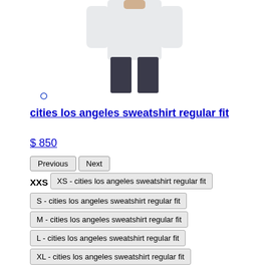[Figure (photo): Product photo of a white sweatshirt worn by a model, showing the back or a partial view; model wearing dark pants.]
cities los angeles sweatshirt regular fit
$ 850
Previous | Next
XXS | XS - cities los angeles sweatshirt regular fit
S - cities los angeles sweatshirt regular fit
M - cities los angeles sweatshirt regular fit
L - cities los angeles sweatshirt regular fit
XL - cities los angeles sweatshirt regular fit